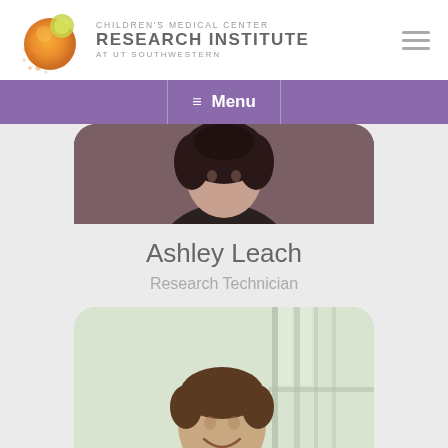Children's Medical Center Research Institute at UT Southwestern
Menu
[Figure (photo): Photo of Ashley Leach, a woman with long curly dark hair wearing a dark top, shown from shoulders up in a rounded rectangular frame]
Ashley Leach
Research Technician
[Figure (photo): Photo of a young man with short dark hair smiling, shown from shoulders up in a rounded rectangular frame with bright window background]